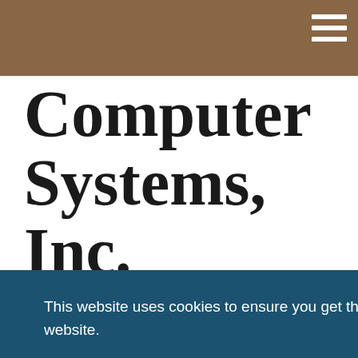Computer Systems, Inc.
Story
December 09, 2019
This website uses cookies to ensure you get the best experience on our website.
Learn More
Got it!